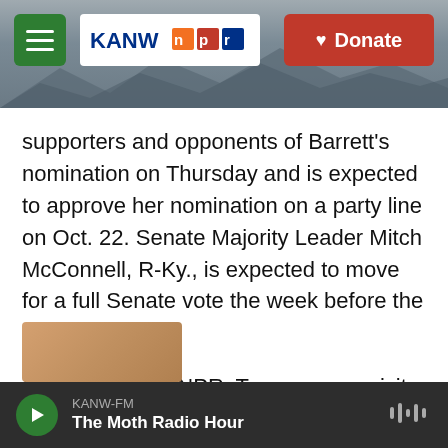[Figure (screenshot): KANW NPR website header with mountain background, hamburger menu, KANW NPR logo, and red Donate button]
supporters and opponents of Barrett's nomination on Thursday and is expected to approve her nomination on a party line on Oct. 22. Senate Majority Leader Mitch McConnell, R-Ky., is expected to move for a full Senate vote the week before the election.
Copyright 2021 NPR. To see more, visit https://www.npr.org.
[Figure (infographic): Social share buttons: Twitter (blue), LinkedIn (blue), Email (white with border)]
KANW-FM  The Moth Radio Hour